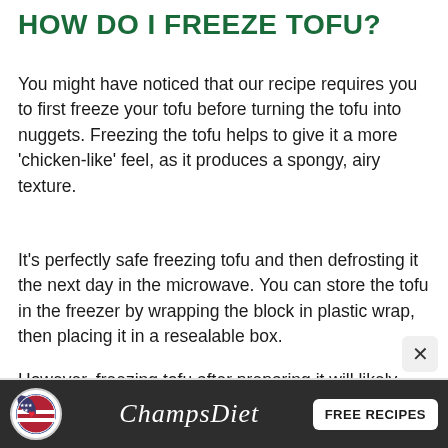HOW DO I FREEZE TOFU?
You might have noticed that our recipe requires you to first freeze your tofu before turning the tofu into nuggets. Freezing the tofu helps to give it a more 'chicken-like' feel, as it produces a spongy, airy texture.
It's perfectly safe freezing tofu and then defrosting it the next day in the microwave. You can store the tofu in the freezer by wrapping the block in plastic wrap, then placing it in a resealable box.
However, freezing tofu after preparing it will likely give it an unwanted mushy mess. So, understand that you are freezing it in this recipe before cooking it.
[Figure (infographic): ChampsDiet advertisement banner with logo, cursive brand name text, and FREE RECIPES button on dark background]